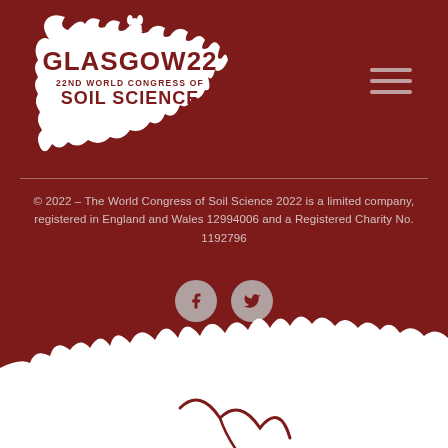[Figure (logo): Glasgow22 22nd World Congress of Soil Science logo — white splash/splatter shape on dark red background with thistle graphic, text GLASGOW22, 22ND WORLD CONGRESS OF, SOIL SCIENCE]
[Figure (illustration): Hamburger menu icon — three horizontal white/light lines on dark red background, top right corner]
© 2022 – The World Congress of Soil Science 2022 is a limited company, registered in England and Wales 12994006 and a Registered Charity No. 1192796
[Figure (illustration): Two circular social media icons (Facebook f and Twitter bird) in muted rose/tan color on dark red background]
[Figure (illustration): Decorative white cracked earth / soil texture splash shape at bottom of page on dark red background]